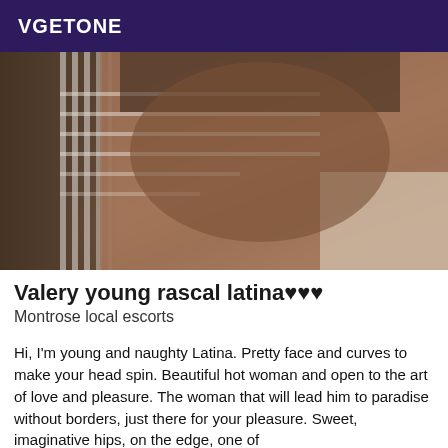VGETONE
[Figure (photo): Close-up photo of a person's lower body in a bathroom/mirror setting with tile background]
Valery young rascal latina♥♥♥
Montrose local escorts
Hi, I'm young and naughty Latina. Pretty face and curves to make your head spin. Beautiful hot woman and open to the art of love and pleasure. The woman that will lead him to paradise without borders, just there for your pleasure. Sweet, imaginative hips, on the edge, one of